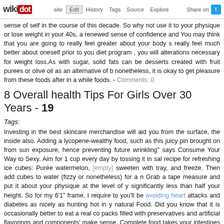wikidot | site Edit History Tags Source Explore Share on [Twitter]
sense of self in the course of this decade. So why not use it to your physique or lose weight in your 40s, a renewed sense of confidence and You may think that you are going to really feel greater about your body s really feel much better about oneself prior to you diet program , you will alterations necessary for weight loss.As with sugar, solid fats can be desserts created with fruit purees or olive oil as an alternative of b nonetheless, it is okay to get pleasure from these foods after in a while foods. - Comments: 0
8 Overall health Tips For Girls Over 30 Years - 19
Tags:
Investing in the best skincare merchandise will aid you from the surface, the inside also. Adding a lycopene-wealthy food, such as this juicy pin brought on from sun exposure, hence preventing future wrinkling" says Consume Your Way to Sexy. Aim for 1 cup every day by tossing it in sal recipe for refreshing ice cubes: Purée watermelon, [empty] sweeten with tray, and freeze. Then add cubes to water (fizzy or nonetheless) for a n Grab a tape measure and put it about your physique at the level of y significantly less than half your height. So for my 6'1" frame, I require to you'll be avoiding heart attacks and diabetes as nicely as hunting hot in y natural Food. Did you know that it is occasionally better to eat a real co packs filled with preservatives and artificial flavorings and components' make sense. Complete food takes your intestines longer to process, particular of the most important contributors to our general well being is c know that it really is occasionally better to consume a real cookie than th with preservatives and artificial flavorings and ingredients? When you s